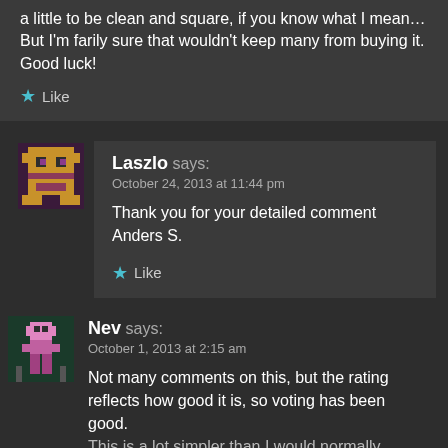a little to be clean and square, if you know what I mean… But I'm farily sure that wouldn't keep many from buying it. Good luck!
Like
Laszlo says:
October 24, 2013 at 11:44 pm
Thank you for your detailed comment Anders S.
Like
Nev says:
October 1, 2013 at 2:15 am
Not many comments on this, but the rating reflects how good it is, so voting has been good.
This is a lot simpler than I would normally…